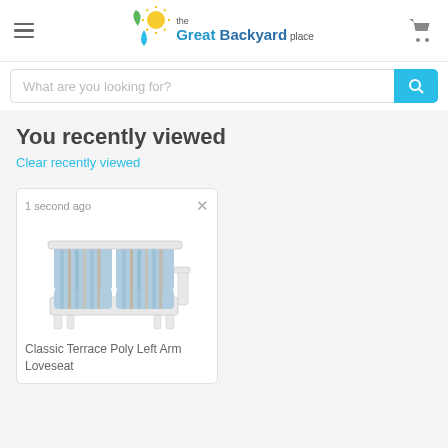the Great Backyard place — navigation header with hamburger menu, logo, and cart icon
What are you looking for?
You recently viewed
Clear recently viewed
1 second ago
[Figure (photo): Classic Terrace Poly Left Arm Loveseat — outdoor patio loveseat with white frame and blue/tan striped cushions]
Classic Terrace Poly Left Arm Loveseat